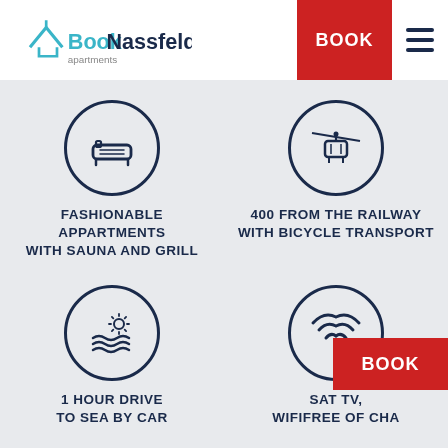[Figure (logo): BookNassfeld apartments logo with house/mountain icon in teal and dark navy text]
[Figure (other): Red BOOK button in header navigation]
[Figure (other): Hamburger menu icon (three horizontal lines)]
[Figure (infographic): Icon circle with bathtub symbol - Fashionable Appartments with Sauna and Grill]
FASHIONABLE APPARTMENTS WITH SAUNA AND GRILL
[Figure (infographic): Icon circle with cable car / gondola symbol - 400 from the railway with bicycle transport]
400 FROM THE RAILWAY WITH BICYCLE TRANSPORT
[Figure (infographic): Icon circle with waves and sun symbol - 1 Hour Drive to Sea by Car]
1 HOUR DRIVE TO SEA BY CAR
[Figure (infographic): Icon circle with WiFi symbol - SAT TV, WIFI Free of Charge]
SAT TV, WIFIFREE OF CHARGE
[Figure (infographic): Icon circle with cyclist/bicycle symbol - Aquapark Biking, Water Sports, Golf...]
AQUAPARK BIKING, WATER SPORTS, GOLF...